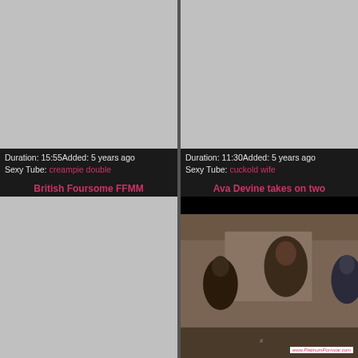[Figure (screenshot): Grey placeholder thumbnail for first video]
Duration: 15:55Added: 5 years ago
Sexy Tube: creampie double
[Figure (screenshot): Grey placeholder thumbnail for second video]
Duration: 11:30Added: 5 years ago
Sexy Tube: cuckold wife
British Foursome FFMM
[Figure (screenshot): Grey placeholder thumbnail for British Foursome FFMM video]
Ava Devine takes on two
[Figure (photo): Video thumbnail showing a woman from behind in a room with other people; watermark reads www.PlatinumPornstar.com]